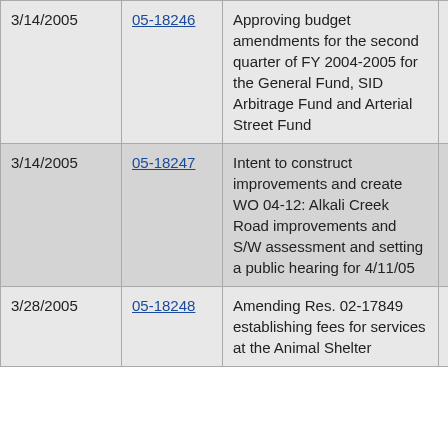| Date | Resolution | Description | Category |
| --- | --- | --- | --- |
| 3/14/2005 | 05-18246 | Approving budget amendments for the second quarter of FY 2004-2005 for the General Fund, SID Arbitrage Fund and Arterial Street Fund | 2 Quarter Budget Amendment |
| 3/14/2005 | 05-18247 | Intent to construct improvements and create WO 04-12: Alkali Creek Road improvements and S/W assessment and setting a public hearing for 4/11/05 | WO 04-12 |
| 3/28/2005 | 05-18248 | Amending Res. 02-17849 establishing fees for services at the Animal Shelter | Animal Shelter |